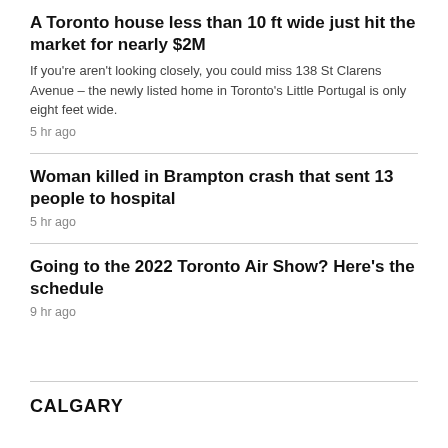A Toronto house less than 10 ft wide just hit the market for nearly $2M
If you're aren't looking closely, you could miss 138 St Clarens Avenue – the newly listed home in Toronto's Little Portugal is only eight feet wide.
5 hr ago
Woman killed in Brampton crash that sent 13 people to hospital
5 hr ago
Going to the 2022 Toronto Air Show? Here's the schedule
9 hr ago
CALGARY